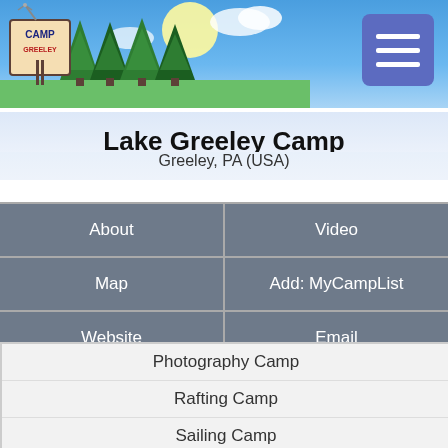[Figure (screenshot): Camp website header banner with blue sky background, cartoon trees and camp sign logo on left, hamburger menu button on right]
Lake Greeley Camp
Greeley, PA (USA)
| About | Video |
| --- | --- |
| Map | Add: MyCampList |
| Website | Email |
Photography Camp
Rafting Camp
Sailing Camp
SCUBA Camp
Skating Camp
Soccer Camp
Tennis Camp
Volleyball Camp
Waterskiing Camp
Skateboarding Camp